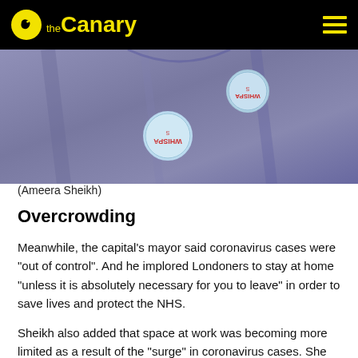the Canary
[Figure (photo): Close-up photo of a person wearing a blue/grey shirt with circular blue badges pinned to it. The badges have text that appears upside down reading 'WHISPA' or similar.]
(Ameera Sheikh)
Overcrowding
Meanwhile, the capital’s mayor said coronavirus cases were “out of control”. And he implored Londoners to stay at home “unless it is absolutely necessary for you to leave” in order to save lives and protect the NHS.
Sheikh also added that space at work was becoming more limited as a result of the “surge” in coronavirus cases. She said: